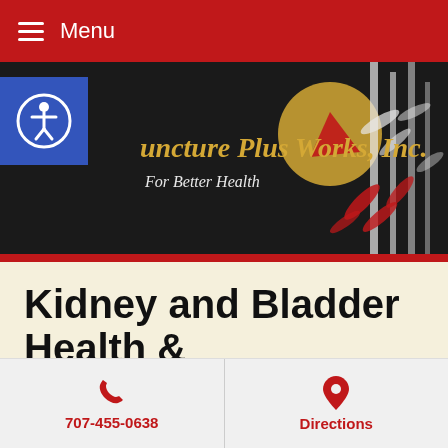Menu
[Figure (illustration): Acupuncture Plus Works, Inc. banner with bamboo, moon, and decorative elements on dark background. Text reads: Acupuncture Plus Works, Inc. For Better Health]
Kidney and Bladder Health & TCM
[Figure (photo): Photo of acupuncture tools and yellow flowers in a clinical setting]
707-455-0638  Directions